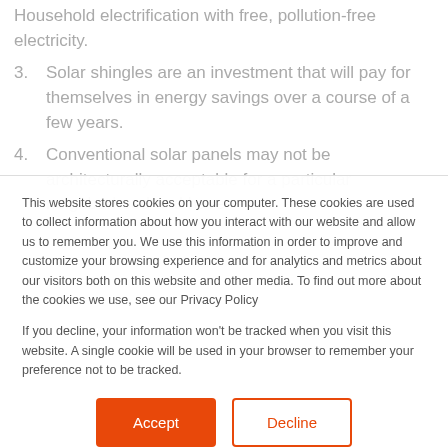Household electrification with free, pollution-free electricity.
3. Solar shingles are an investment that will pay for themselves in energy savings over a course of a few years.
4. Conventional solar panels may not be architecturally acceptable for a particular neighborhood and have
This website stores cookies on your computer. These cookies are used to collect information about how you interact with our website and allow us to remember you. We use this information in order to improve and customize your browsing experience and for analytics and metrics about our visitors both on this website and other media. To find out more about the cookies we use, see our Privacy Policy
If you decline, your information won't be tracked when you visit this website. A single cookie will be used in your browser to remember your preference not to be tracked.